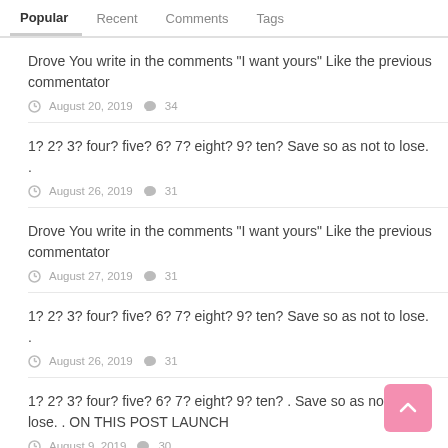Popular | Recent | Comments | Tags
Drove You write in the comments "I want yours" Like the previous commentator
August 20, 2019 💬 34
1? 2? 3? four? five? 6? 7? eight? 9? ten? Save so as not to lose. .
August 26, 2019 💬 31
Drove You write in the comments "I want yours" Like the previous commentator
August 27, 2019 💬 31
1? 2? 3? four? five? 6? 7? eight? 9? ten? Save so as not to lose. .
August 26, 2019 💬 31
1? 2? 3? four? five? 6? 7? eight? 9? ten? . Save so as not to lose. . ON THIS POST LAUNCH
August 9, 2019 💬 30